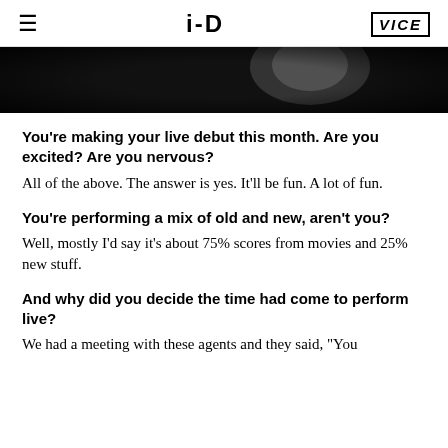≡  i-D  VICE
[Figure (photo): Dark/black and white photo, partially cropped, showing a dark background with a faint light source or face.]
You're making your live debut this month. Are you excited? Are you nervous?
All of the above. The answer is yes. It'll be fun. A lot of fun.
You're performing a mix of old and new, aren't you?
Well, mostly I'd say it's about 75% scores from movies and 25% new stuff.
And why did you decide the time had come to perform live?
We had a meeting with these agents and they said, "You